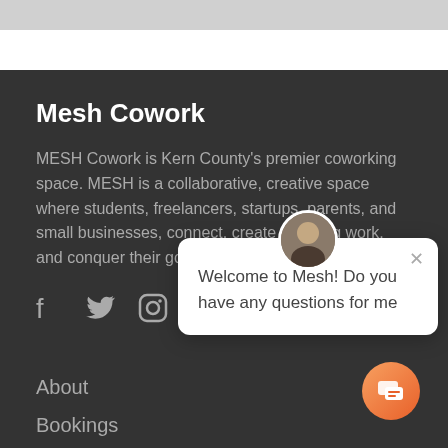Mesh Cowork
MESH Cowork is Kern County's premier coworking space. MESH is a collaborative, creative space where students, freelancers, startups, parents, and small businesses, connect, create amazing work, and conquer their goals.
[Figure (illustration): Social media icons: Facebook, Twitter, Instagram]
[Figure (screenshot): Chat popup with avatar photo of a man, close button (x), and message: Welcome to Mesh! Do you have any questions for me]
About
Bookings
Help
[Figure (illustration): Orange/red circular chat button with chat icon]